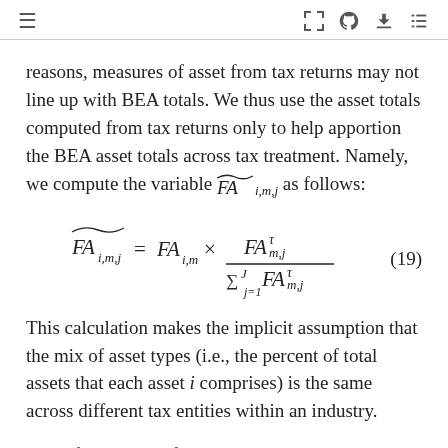≡  [ ]  ⌓  ↓  :≡
reasons, measures of asset from tax returns may not line up with BEA totals. We thus use the asset totals computed from tax returns only to help apportion the BEA asset totals across tax treatment. Namely, we compute the variable FÃ_{i,m,j} as follows:
This calculation makes the implicit assumption that the mix of asset types (i.e., the percent of total assets that each asset i comprises) is the same across different tax entities within an industry.
We define the set of tax entity types to be the following five entity types: